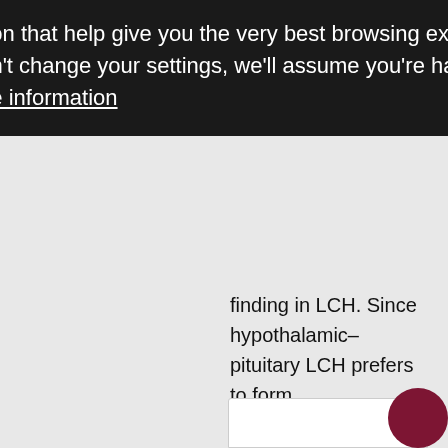information that help give you the very best browsing experience. If you don't change your settings, we'll assume you're happy with this. More information
finding in LCH. Since hypothalamic–pituitary LCH prefers to form neurohypophyseal lesions and presents with CDI, it is tempting to speculate that these MRI findings might be caused by retrograde neurohypophyseal extension of LCH. It is also possible that pituitary lesions are more treatment-responsive than hypothalamic lesions. In the literature search, there are few cases that present serial MRI courses of LCH, and an accumulation of hypothalamic–pituitary LCH cases is necessary for the future to clarify this issue.